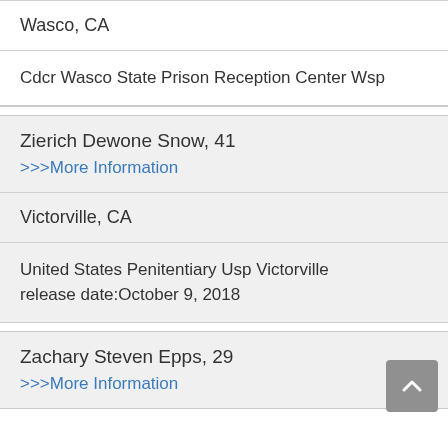Wasco, CA
Cdcr Wasco State Prison Reception Center Wsp
Zierich Dewone Snow, 41
>>>More Information
Victorville, CA
United States Penitentiary Usp Victorville release date:October 9, 2018
Zachary Steven Epps, 29
>>>More Information